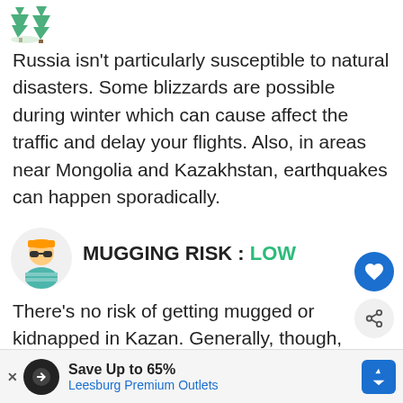[Figure (illustration): Two pine trees icon with snow, indicating natural disasters section. 'LOW' label in green to the right.]
Russia isn't particularly susceptible to natural disasters. Some blizzards are possible during winter which can cause affect the traffic and delay your flights. Also, in areas near Mongolia and Kazakhstan, earthquakes can happen sporadically.
[Figure (illustration): Person wearing hard hat and sunglasses icon, indicating mugging risk section.]
MUGGING RISK : LOW
There's no risk of getting mugged or kidnapped in Kazan. Generally, though, never accept free drinks or food when you...and when
[Figure (other): Advertisement banner: Save Up to 65% - Leesburg Premium Outlets]